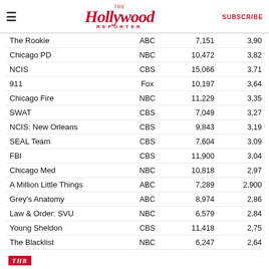The Hollywood Reporter — SUBSCRIBE
| Show | Network | Viewers | Rating |
| --- | --- | --- | --- |
| The Rookie | ABC | 7,151 | 3,90 |
| Chicago PD | NBC | 10,472 | 3,82 |
| NCIS | CBS | 15,066 | 3,71 |
| 911 | Fox | 10,197 | 3,64 |
| Chicago Fire | NBC | 11,229 | 3,35 |
| SWAT | CBS | 7,049 | 3,27 |
| NCIS: New Orleans | CBS | 9,843 | 3,19 |
| SEAL Team | CBS | 7,604 | 3,09 |
| FBI | CBS | 11,900 | 3,04 |
| Chicago Med | NBC | 10,818 | 2,97 |
| A Million Little Things | ABC | 7,289 | 2,900 |
| Grey's Anatomy | ABC | 8,974 | 2,86 |
| Law & Order: SVU | NBC | 6,579 | 2,84 |
| Young Sheldon | CBS | 11,418 | 2,75 |
| The Blacklist | NBC | 6,247 | 2,64 |